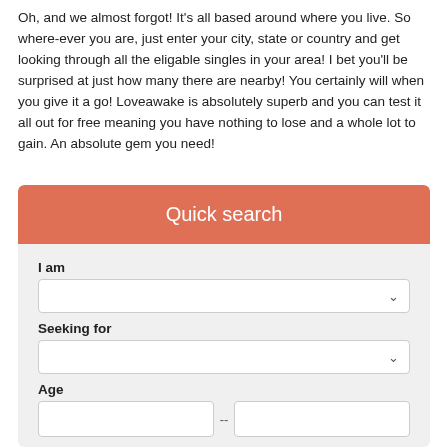Oh, and we almost forgot! It's all based around where you live. So where-ever you are, just enter your city, state or country and get looking through all the eligable singles in your area! I bet you'll be surprised at just how many there are nearby! You certainly will when you give it a go! Loveawake is absolutely superb and you can test it all out for free meaning you have nothing to lose and a whole lot to gain. An absolute gem you need!
Quick search
I am
[Figure (screenshot): Dropdown select box for 'I am' field]
Seeking for
[Figure (screenshot): Dropdown select box for 'Seeking for' field]
Age
[Figure (screenshot): Two age input fields with dash separator between them]